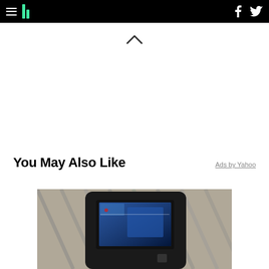HuffPost navigation with hamburger menu, logo, Facebook and Twitter icons
[Figure (other): Upward chevron / caret icon indicating collapse]
You May Also Like
Ads by Yahoo
[Figure (photo): Close-up photograph of a black handheld electronic device with a small LCD screen showing a blue display, with blurred background of a lattice or grid pattern]